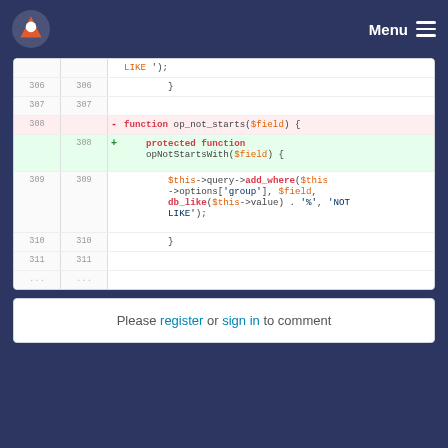Menu
Code diff showing function rename from op_not_starts to opNotStartsWith, lines 306-311
Please register or sign in to comment